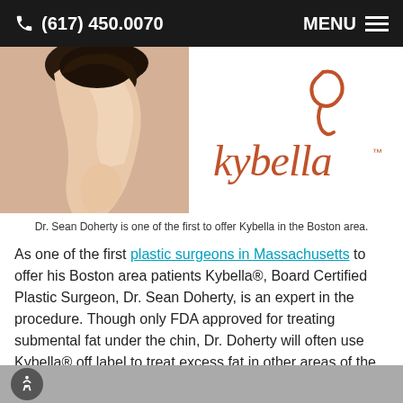(617) 450.0070   MENU
[Figure (photo): Woman tilting head back showing chin and neck profile alongside the Kybella brand logo (red/orange script with a stylized k mark)]
Dr. Sean Doherty is one of the first to offer Kybella in the Boston area.
As one of the first plastic surgeons in Massachusetts to offer his Boston area patients Kybella®, Board Certified Plastic Surgeon, Dr. Sean Doherty, is an expert in the procedure. Though only FDA approved for treating submental fat under the chin, Dr. Doherty will often use Kybella® off label to treat excess fat in other areas of the body such the bra rolls on women, excess fat above the knees and stubborn areas around the belly button.